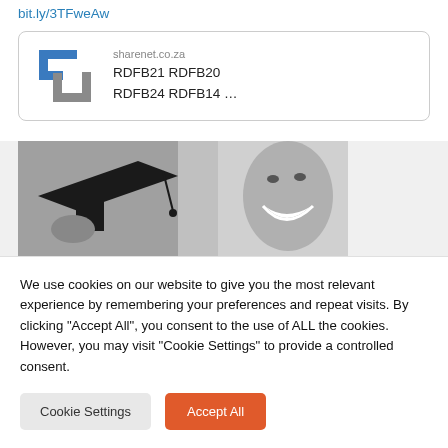bit.ly/3TFweAw
[Figure (other): Sharenet logo card with domain sharenet.co.za and codes RDFB21 RDFB20 RDFB24 RDFB14 ...]
[Figure (photo): Black and white photo of a person in graduation cap and gown laughing joyfully]
We use cookies on our website to give you the most relevant experience by remembering your preferences and repeat visits. By clicking "Accept All", you consent to the use of ALL the cookies. However, you may visit "Cookie Settings" to provide a controlled consent.
Cookie Settings  Accept All